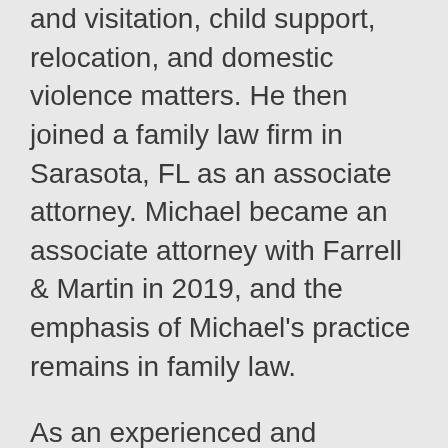and visitation, child support, relocation, and domestic violence matters. He then joined a family law firm in Sarasota, FL as an associate attorney. Michael became an associate attorney with Farrell & Martin in 2019, and the emphasis of Michael's practice remains in family law.
As an experienced and passionate litigator, Michael knows that aggressive tactics are not always beneficial to the parties or children at issue. Family law cases have emotional consequences, and Michael will listen to your needs, both legal and emotional, prior to developing a litigation strategy. Michael strives to